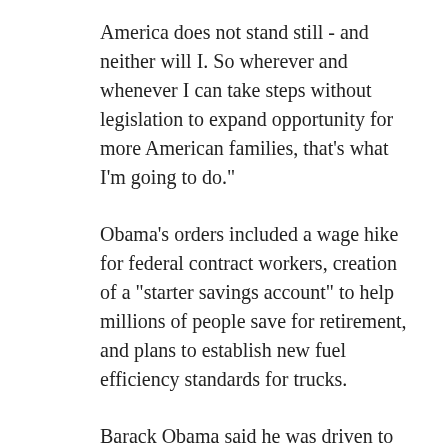America does not stand still - and neither will I. So wherever and whenever I can take steps without legislation to expand opportunity for more American families, that's what I'm going to do."
Obama's orders included a wage hike for federal contract workers, creation of a "starter savings account" to help millions of people save for retirement, and plans to establish new fuel efficiency standards for trucks.
Barack Obama said he was driven to act by the widening gap between rich and poor and the fact that while the stock market has soared, average wages have barely budged.
"Inequality has deepened," Obama said. "Upward mobility has stalled. The cold hard fact is that even in